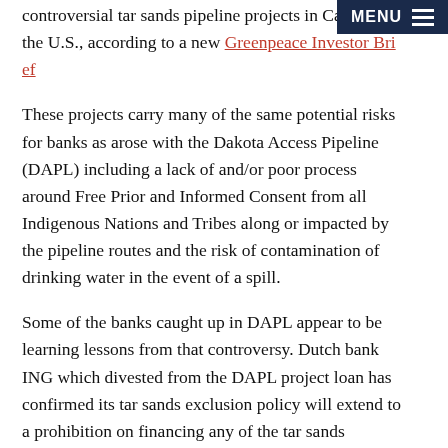controversial tar sands pipeline projects in Canada and the U.S., according to a new Greenpeace Investor Bri[ef]
These projects carry many of the same potential risks for banks as arose with the Dakota Access Pipeline (DAPL) including a lack of and/or poor process around Free Prior and Informed Consent from all Indigenous Nations and Tribes along or impacted by the pipeline routes and the risk of contamination of drinking water in the event of a spill.
Some of the banks caught up in DAPL appear to be learning lessons from that controversy. Dutch bank ING which divested from the DAPL project loan has confirmed its tar sands exclusion policy will extend to a prohibition on financing any of the tar sands pipelines. Some lenders who were subject to criticism over DAPL and were participants in previous syndicated credit facilities to Kinder Morgan did not participate in the recent deal to fund the Trans Mountain Expansion project.